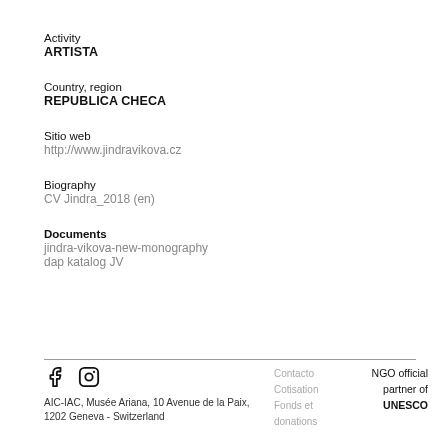Activity
ARTISTA
Country, region
REPUBLICA CHECA
Sitio web
http://www.jindravikova.cz
Biography
CV Jindra_2018 (en)
Documents
jindra-vikova-new-monography
dap katalog JV
AIC-IAC, Musée Ariana, 10 Avenue de la Paix, 1202 Geneva - Switzerland | Contacto | Cotisation | Fonds et donations | NGO official partner of UNESCO